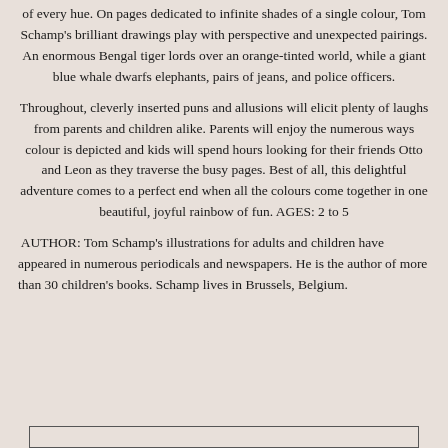of every hue. On pages dedicated to infinite shades of a single colour, Tom Schamp's brilliant drawings play with perspective and unexpected pairings. An enormous Bengal tiger lords over an orange-tinted world, while a giant blue whale dwarfs elephants, pairs of jeans, and police officers.
Throughout, cleverly inserted puns and allusions will elicit plenty of laughs from parents and children alike. Parents will enjoy the numerous ways colour is depicted and kids will spend hours looking for their friends Otto and Leon as they traverse the busy pages. Best of all, this delightful adventure comes to a perfect end when all the colours come together in one beautiful, joyful rainbow of fun. AGES: 2 to 5
AUTHOR: Tom Schamp's illustrations for adults and children have appeared in numerous periodicals and newspapers. He is the author of more than 30 children's books. Schamp lives in Brussels, Belgium.